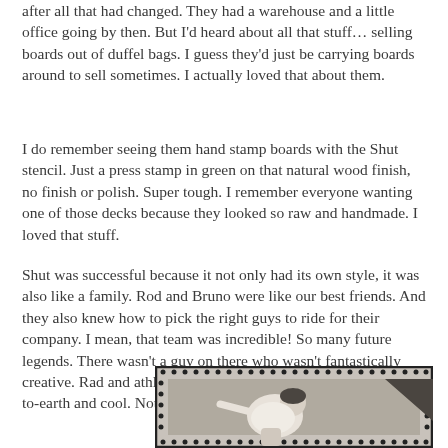after all that had changed. They had a warehouse and a little office going by then. But I'd heard about all that stuff… selling boards out of duffel bags. I guess they'd just be carrying boards around to sell sometimes. I actually loved that about them.
I do remember seeing them hand stamp boards with the Shut stencil. Just a press stamp in green on that natural wood finish, no finish or polish. Super tough. I remember everyone wanting one of those decks because they looked so raw and handmade. I loved that stuff.
Shut was successful because it not only had its own style, it was also like a family. Rod and Bruno were like our best friends. And they also knew how to pick the right guys to ride for their company. I mean, that team was incredible! So many future legends. There wasn't a guy on there who wasn't fantastically creative. Rad and athletic skaters, but who were also super down-to-earth and cool. Not trying to be overly aggressive or charge.
[Figure (photo): Black and white photograph of a skateboarder performing a trick, framed with a decorative dot border. The image shows a skater in motion, partially visible at the bottom of the page.]